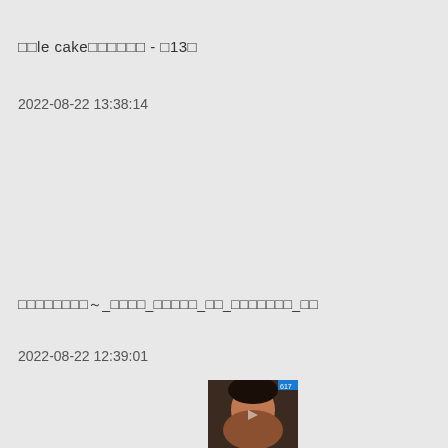□□le cake□□□□□□ - □13□
2022-08-22 13:38:14
□□□□□□□□～_□□□□_□□□□□_□□_□□□□□□□_□□
2022-08-22 12:39:01
[Figure (photo): Small thumbnail image of a person's face, partially visible at bottom of page]